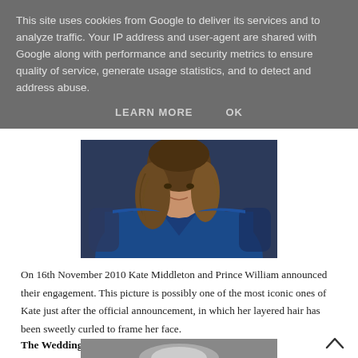This site uses cookies from Google to deliver its services and to analyze traffic. Your IP address and user-agent are shared with Google along with performance and security metrics to ensure quality of service, generate usage statistics, and to detect and address abuse.
LEARN MORE    OK
[Figure (photo): Photo of a woman with layered brown hair wearing a blue wrap dress, upper body visible, taken just after the engagement announcement of Kate Middleton and Prince William on 16th November 2010.]
On 16th November 2010 Kate Middleton and Prince William announced their engagement. This picture is possibly one of the most iconic ones of Kate just after the official announcement, in which her layered hair has been sweetly curled to frame her face.
The Wedding Day
[Figure (photo): Partial photo at bottom of page, appears to show a hat or similar item, partially cropped.]